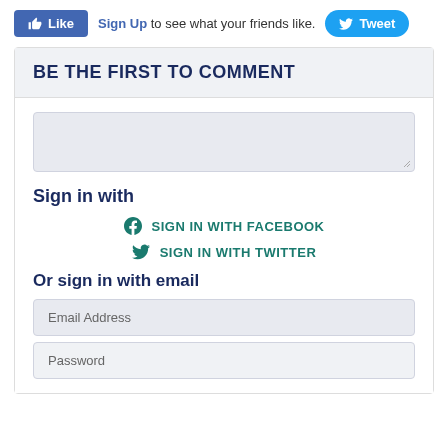[Figure (screenshot): Facebook Like button (blue) and Tweet button (light blue) with 'Sign Up to see what your friends like.' text in the top bar]
BE THE FIRST TO COMMENT
[Figure (screenshot): Comment text area input box (empty, light gray background with resize handle)]
Sign in with
SIGN IN WITH FACEBOOK
SIGN IN WITH TWITTER
Or sign in with email
Email Address
Password